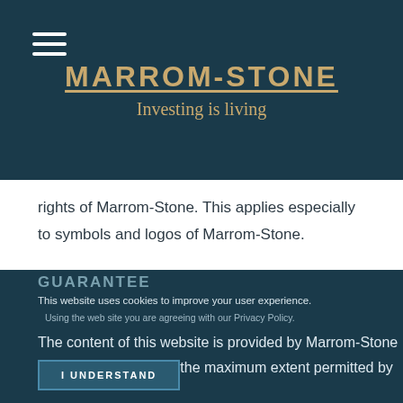MARROM-STONE — Investing is living
rights of Marrom-Stone. This applies especially to symbols and logos of Marrom-Stone.
This website together with any and all material in it does not concede and may not be interpreted as conceding permission to third parties to use, copy or benefit from, directly or indirectly, the intellectual property rights of Marrom-Stone.
GUARANTEE
This website uses cookies to improve your user experience.
Using the web site you are agreeing with our Privacy Policy.
The content of this website is provided by Marrom-Stone for information only to the maximum extent permitted by
I UNDERSTAND